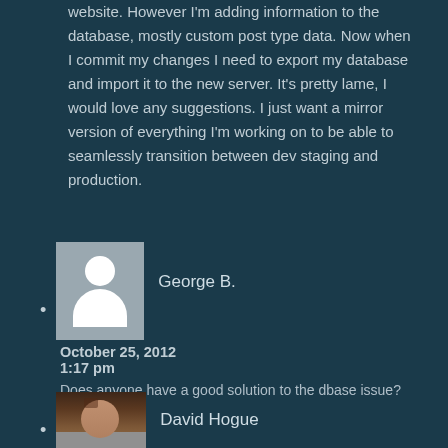website. However I'm adding information to the database, mostly custom post type data. Now when I commit my changes I need to export my database and import it to the new server. It's pretty lame, I would love any suggestions. I just want a mirror version of everything I'm working on to be able to seamlessly transition between dev staging and production.
[Figure (photo): Default avatar placeholder showing a white silhouette of a person on grey background]
George B.
October 25, 2012
1:17 pm
Does anyone have a good solution to the dbase issue?
[Figure (photo): Photo of David Hogue, a man with glasses and a beard]
David Hogue